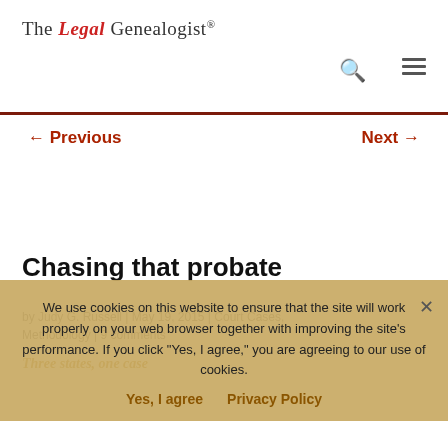The Legal Genealogist®
← Previous    Next →
Chasing that probate
by Judy G. Russell | May 19, 2015 | Court Cases, Methodology | 9 comments
Three states, one case
We use cookies on this website to ensure that the site will work properly on your web browser together with improving the site's performance. If you click "Yes, I agree," you are agreeing to our use of cookies.
Yes, I agree    Privacy Policy